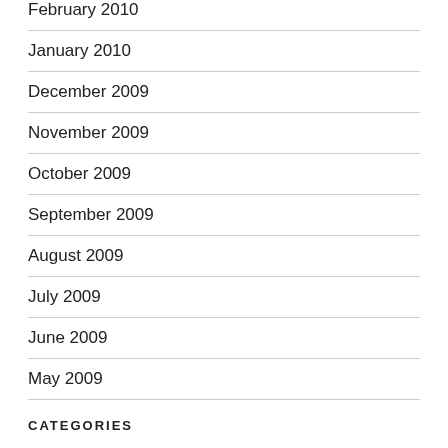February 2010
January 2010
December 2009
November 2009
October 2009
September 2009
August 2009
July 2009
June 2009
May 2009
CATEGORIES